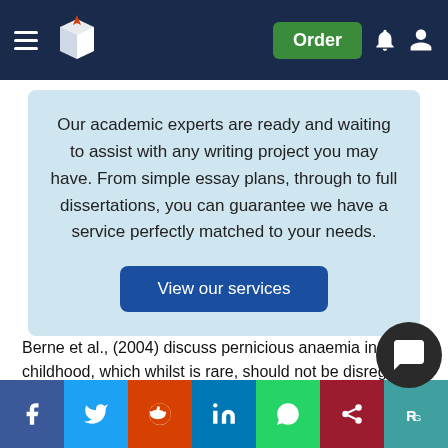Navigation bar with logo, Order button, notification and account icons
Our academic experts are ready and waiting to assist with any writing project you may have. From simple essay plans, through to full dissertations, you can guarantee we have a service perfectly matched to your needs.
View our services
Berne et al., (2004) discuss pernicious anaemia in childhood, which whilst is rare, should not be disregarded since this also challenges the idea of pernicious anaemia being exclusively in elderly, which experts claim that the…